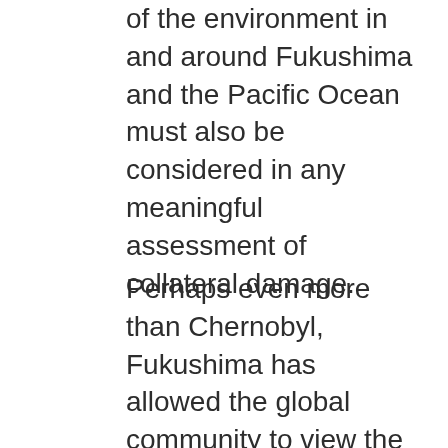of the environment in and around Fukushima and the Pacific Ocean must also be considered in any meaningful assessment of collateral damage.
Perhaps even more than Chernobyl, Fukushima has allowed the global community to view the whole event through the lens of legal responsibility and ethical outcomes so that new international standards can be written and implemented regarding nuclear waste conveyance and disposal. If nothing else, this discussion has raised awareness about the most nagging issue concerning the NER. Whereas the